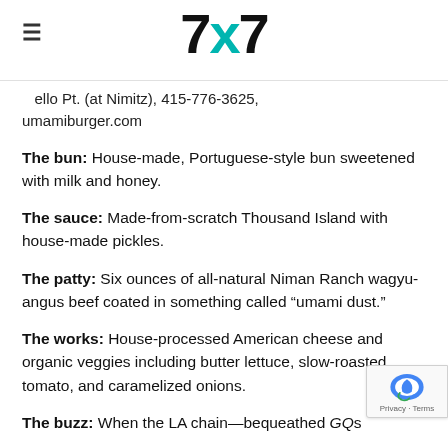7x7 logo with hamburger menu icon
...ello Pt. (at Nimitz), 415-776-3625, umamiburger.com
The bun: House-made, Portuguese-style bun sweetened with milk and honey.
The sauce: Made-from-scratch Thousand Island with house-made pickles.
The patty: Six ounces of all-natural Niman Ranch wagyu-angus beef coated in something called “umami dust.”
The works: House-processed American cheese and organic veggies including butter lettuce, slow-roasted tomato, and caramelized onions.
The buzz: When the LA chain—bequeathed GQs